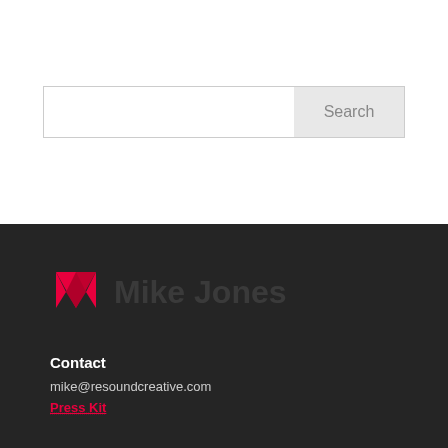[Figure (screenshot): Search bar with text input field and Search button]
[Figure (logo): Mike Jones logo with red M icon and dark text]
Contact
mike@resoundcreative.com
Press Kit